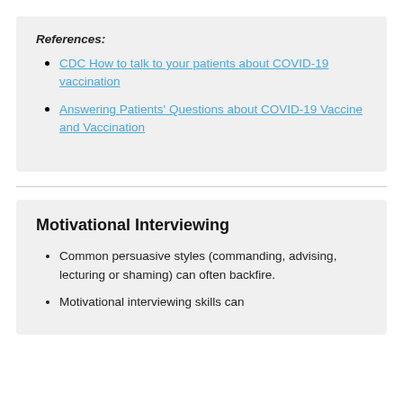References:
CDC How to talk to your patients about COVID-19 vaccination
Answering Patients' Questions about COVID-19 Vaccine and Vaccination
Motivational Interviewing
Common persuasive styles (commanding, advising, lecturing or shaming) can often backfire.
Motivational interviewing skills can